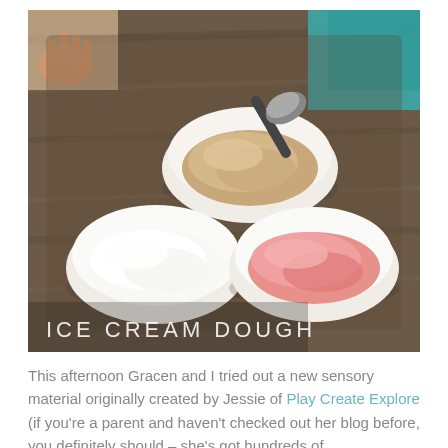[Figure (photo): Three white bowls on a rustic wooden board, each containing a different colored dough: beige/tan dough with an ice cream scoop in the top bowl, white dough in the bottom-left bowl, and pink dough in the bottom-right bowl. A child's hand is visible at the top-left and teal fabric at the top-right. Text overlay at bottom-left reads 'ICE CREAM DOUGH'.]
This afternoon Gracen and I tried out a new sensory material originally created by Jessie of Play Create Explore (if you're a parent and haven't checked out her blog before, you definitely should – she's got hundreds of